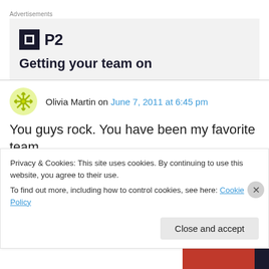Advertisements
[Figure (logo): P2 logo with dark square icon and 'P2' text, advertisement box with tagline 'Getting your team on']
Olivia Martin on June 7, 2011 at 6:45 pm
You guys rock. You have been my favorite team
Privacy & Cookies: This site uses cookies. By continuing to use this website, you agree to their use.
To find out more, including how to control cookies, see here: Cookie Policy
Close and accept